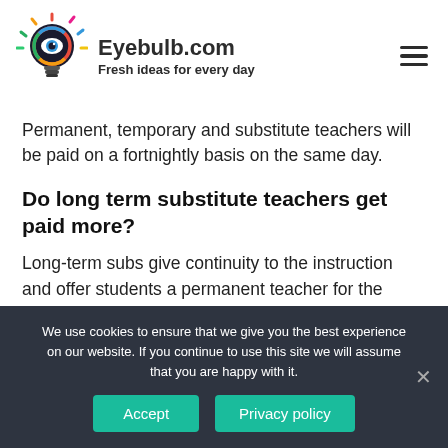[Figure (logo): Eyebulb.com colorful lightbulb logo with eye in center]
Eyebulb.com
Fresh ideas for every day
Permanent, temporary and substitute teachers will be paid on a fortnightly basis on the same day.
Do long term substitute teachers get paid more?
Long-term subs give continuity to the instruction and offer students a permanent teacher for the contract teacher's absence. Long term sub pay varies, and in many districts earn long-term subs can
We use cookies to ensure that we give you the best experience on our website. If you continue to use this site we will assume that you are happy with it.
Accept
Privacy policy